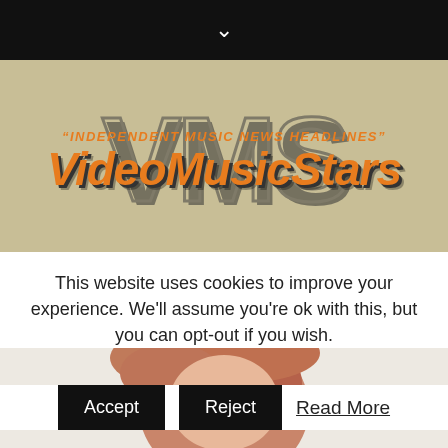[Figure (logo): VideoMusicStars website header with black top bar containing chevron down icon, tan/khaki background with large 'VMS' watermark text, orange italic tagline 'INDEPENDENT MUSIC NEWS HEADLINES' and orange bold italic 'VideoMusicStars' logo text]
[Figure (screenshot): Black navigation bar with white search icon on left and hamburger menu icon on right]
[Figure (photo): Partial photo of a person with red/auburn hair visible at top of content area]
This website uses cookies to improve your experience. We'll assume you're ok with this, but you can opt-out if you wish.
Accept   Reject   Read More